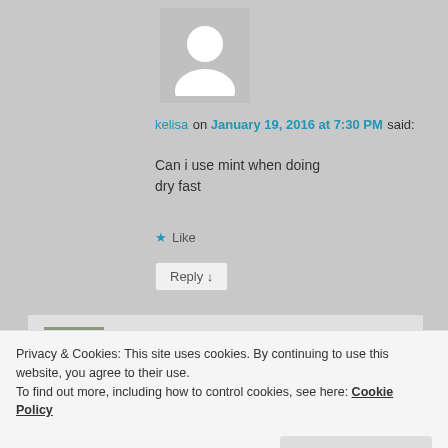[Figure (illustration): Gray avatar placeholder silhouette of a person]
kelisa on January 19, 2016 at 7:30 PM said:
Can i use mint when doing
dry fast
★ Like
Reply ↓
[Figure (photo): Small profile photo of esmeelafleur showing a dog or outdoor scene]
esmeelafleur on January 20, 2016 at 12:55 PM
Privacy & Cookies: This site uses cookies. By continuing to use this website, you agree to their use. To find out more, including how to control cookies, see here: Cookie Policy
Close and accept
★ Like